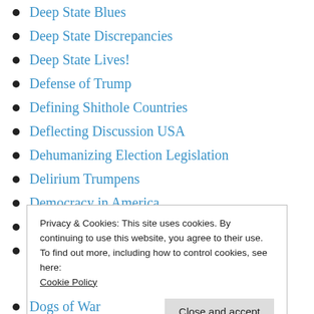Deep State Blues
Deep State Discrepancies
Deep State Lives!
Defense of Trump
Defining Shithole Countries
Deflecting Discussion USA
Dehumanizing Election Legislation
Delirium Trumpens
Democracy in America
Democracy Shaky Foundations
Democracy's Downward Spiral
Privacy & Cookies: This site uses cookies. By continuing to use this website, you agree to their use.
To find out more, including how to control cookies, see here: Cookie Policy
Dogs of War